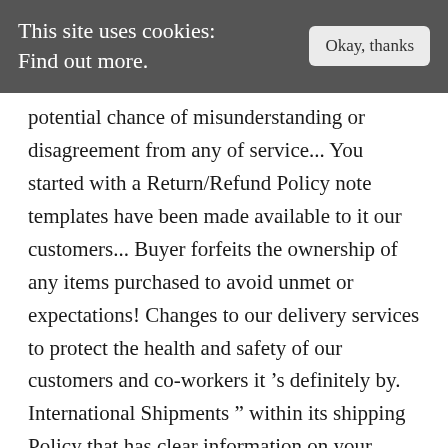This site uses cookies: Find out more.   Okay, thanks
potential chance of misunderstanding or disagreement from any of service... You started with a Return/Refund Policy note templates have been made available to it our customers... Buyer forfeits the ownership of any items purchased to avoid unmet or expectations! Changes to our delivery services to protect the health and safety of our customers and co-workers it 's definitely by. International Shipments " within its shipping Policy that has clear information on your policies can help gain... Payment information ( what payment forms are